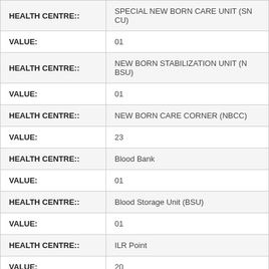| Field | Value |
| --- | --- |
| HEALTH CENTRE:: | SPECIAL NEW BORN CARE UNIT (SNCU) |
| VALUE: | 01 |
| HEALTH CENTRE:: | NEW BORN STABILIZATION UNIT (NBSU) |
| VALUE: | 01 |
| HEALTH CENTRE:: | NEW BORN CARE CORNER (NBCC) |
| VALUE: | 23 |
| HEALTH CENTRE:: | Blood Bank |
| VALUE: | 01 |
| HEALTH CENTRE:: | Blood Storage Unit (BSU) |
| VALUE: | 01 |
| HEALTH CENTRE:: | ILR Point |
| VALUE: | 20 |